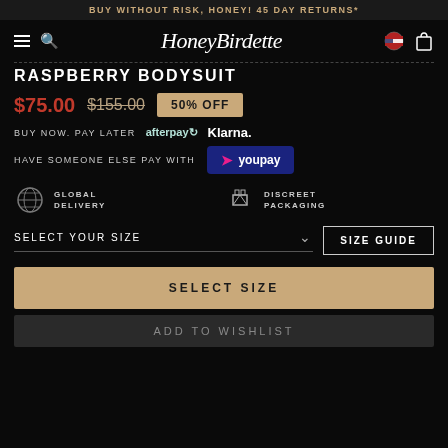BUY WITHOUT RISK, HONEY! 45 DAY RETURNS*
[Figure (logo): Honey Birdette script logo in nav bar with hamburger menu, search icon, US flag, and shopping bag]
RASPBERRY BODYSUIT
$75.00  $155.00  50% OFF
BUY NOW. PAY LATER  afterpay  Klarna.
HAVE SOMEONE ELSE PAY WITH  youpay
GLOBAL DELIVERY   DISCREET PACKAGING
SELECT YOUR SIZE  SIZE GUIDE
SELECT SIZE
ADD TO WISHLIST